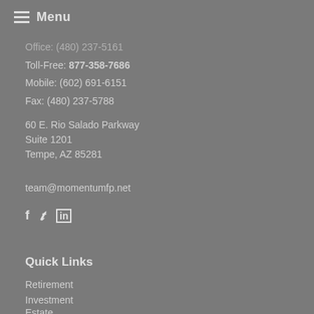Menu
Office: (480) 237-5161
Toll-Free: 877-358-7686
Mobile: (602) 691-6151
Fax: (480) 237-5788
60 E. Rio Salado Parkway
Suite 1201
Tempe, AZ 85281
team@momentumfp.net
[Figure (infographic): Social media icons: Facebook (f), Twitter (bird/t), LinkedIn (in)]
Quick Links
Retirement
Investment
Estate